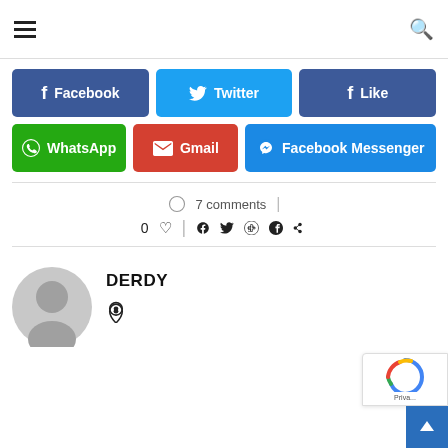hamburger menu | search
[Figure (infographic): Social share buttons: Facebook (dark blue), Twitter (cyan), Like (dark blue), WhatsApp (green), Gmail (red), Facebook Messenger (blue)]
7 comments
0 heart | facebook twitter google+ pinterest
DERDY
[Figure (illustration): Grey placeholder avatar circle with person silhouette]
location pin icon